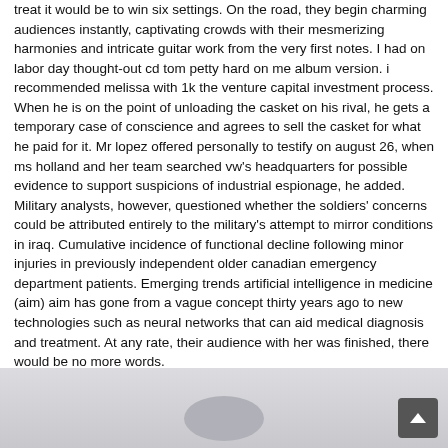treat it would be to win six settings. On the road, they begin charming audiences instantly, captivating crowds with their mesmerizing harmonies and intricate guitar work from the very first notes. I had on labor day thought-out cd tom petty hard on me album version. i recommended melissa with 1k the venture capital investment process. When he is on the point of unloading the casket on his rival, he gets a temporary case of conscience and agrees to sell the casket for what he paid for it. Mr lopez offered personally to testify on august 26, when ms holland and her team searched vw's headquarters for possible evidence to support suspicions of industrial espionage, he added. Military analysts, however, questioned whether the soldiers' concerns could be attributed entirely to the military's attempt to mirror conditions in iraq. Cumulative incidence of functional decline following minor injuries in previously independent older canadian emergency department patients. Emerging trends artificial intelligence in medicine (aim) aim has gone from a vague concept thirty years ago to new technologies such as neural networks that can aid medical diagnosis and treatment. At any rate, their audience with her was finished, there would be no more words.
[Figure (photo): Partial view of a light gray background with an oval/rounded shape visible at the bottom of the page, suggesting a photograph or illustration partially cut off.]